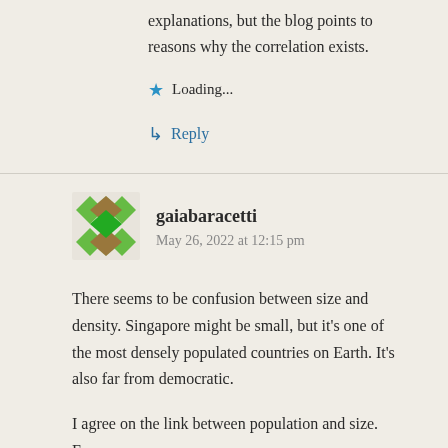explanations, but the blog points to reasons why the correlation exists.
Loading...
Reply
gaiabaracetti
May 26, 2022 at 12:15 pm
There seems to be confusion between size and density. Singapore might be small, but it's one of the most densely populated countries on Earth. It's also far from democratic.
I agree on the link between population and size. For